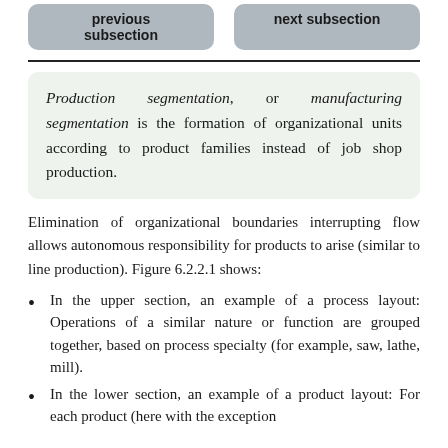previous subsection | next subsection
Production segmentation, or manufacturing segmentation is the formation of organizational units according to product families instead of job shop production.
Elimination of organizational boundaries interrupting flow allows autonomous responsibility for products to arise (similar to line production). Figure 6.2.2.1 shows:
In the upper section, an example of a process layout: Operations of a similar nature or function are grouped together, based on process specialty (for example, saw, lathe, mill).
In the lower section, an example of a product layout: For each product (here with the exception